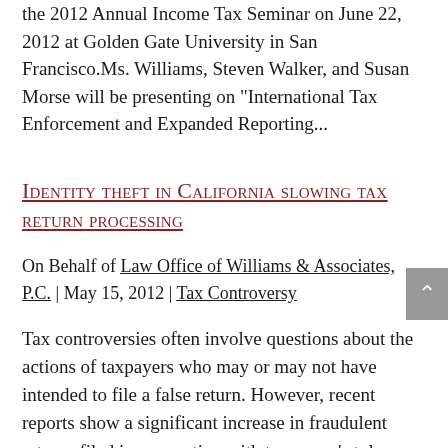the 2012 Annual Income Tax Seminar on June 22, 2012 at Golden Gate University in San Francisco.Ms. Williams, Steven Walker, and Susan Morse will be presenting on "International Tax Enforcement and Expanded Reporting...
Identity theft in California slowing tax return processing
On Behalf of Law Office of Williams & Associates, P.C. | May 15, 2012 | Tax Controversy
Tax controversies often involve questions about the actions of taxpayers who may or may not have intended to file a false return. However, recent reports show a significant increase in fraudulent returns filed in connection with taxpayers' stolen